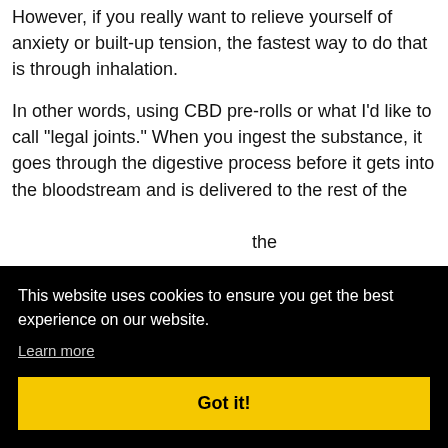However, if you really want to relieve yourself of anxiety or built-up tension, the fastest way to do that is through inhalation.
In other words, using CBD pre-rolls or what I'd like to call "legal joints." When you ingest the substance, it goes through the digestive process before it gets into the bloodstream and is delivered to the rest of the the ls in
This website uses cookies to ensure you get the best experience on our website.
Learn more
Got it!